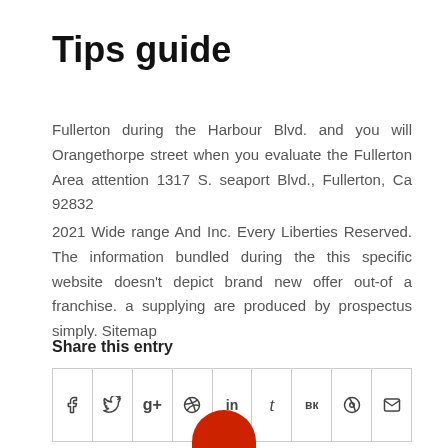Tips guide
Fullerton during the Harbour Blvd. and you will Orangethorpe street when you evaluate the Fullerton Area attention 1317 S. seaport Blvd., Fullerton, Ca 92832
2021 Wide range And Inc. Every Liberties Reserved. The information bundled during the this specific website doesn't depict brand new offer out-of a franchise. a supplying are produced by prospectus simply. Sitemap
Share this entry
[Figure (other): Social share icons bar with: facebook, twitter, google+, pinterest, linkedin, tumblr, vk, reddit, email icons in a bordered row]